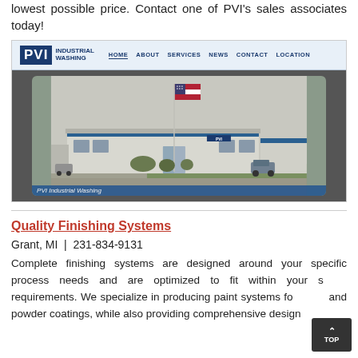lowest possible price. Contact one of PVI's sales associates today!
[Figure (screenshot): Screenshot of PVI Industrial Washing website showing navigation bar with logo and menu items (Home, About, Services, News, Contact, Location), and a photo of a single-story commercial building with a US flag on a tall flagpole, green lawn in front, blue accent stripe, and partial caption 'PVI Industrial Washing'.]
Quality Finishing Systems
Grant, MI  |  231-834-9131
Complete finishing systems are designed around your specific process needs and are optimized to fit within your space requirements. We specialize in producing paint systems for liquid and powder coatings, while also providing comprehensive design